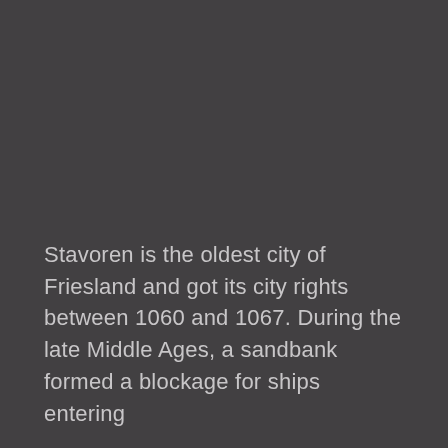Stavoren is the oldest city of Friesland and got its city rights between 1060 and 1067. During the late Middle Ages, a sandbank formed a blockage for ships entering